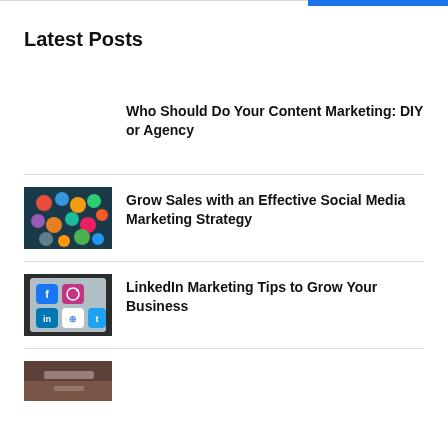Latest Posts
Who Should Do Your Content Marketing: DIY or Agency
[Figure (photo): Smartphone with colorful social media app icons on screen against blue background]
Grow Sales with an Effective Social Media Marketing Strategy
[Figure (photo): Hand holding phone showing social media app icons including Facebook, Instagram, LinkedIn, Google Maps, Twitter]
LinkedIn Marketing Tips to Grow Your Business
[Figure (photo): Partial image of another blog post thumbnail, cut off at bottom of page]